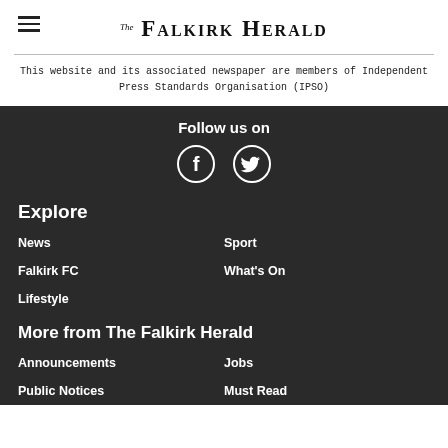The Falkirk Herald
This website and its associated newspaper are members of Independent Press Standards Organisation (IPSO)
Follow us on
[Figure (other): Facebook and Twitter social media icon circles]
Explore
News
Sport
Falkirk FC
What's On
Lifestyle
More from The Falkirk Herald
Announcements
Jobs
Public Notices
Must Read